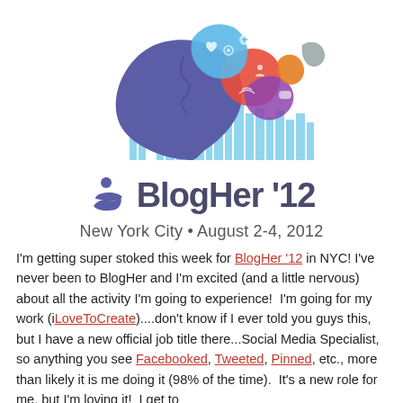[Figure (logo): BlogHer '12 conference logo: illustration of a woman's head silhouette in blue with colorful social media icons flowing from her hair, plus a New York City skyline in light blue]
BlogHer '12
New York City • August 2-4, 2012
I'm getting super stoked this week for BlogHer '12 in NYC! I've never been to BlogHer and I'm excited (and a little nervous) about all the activity I'm going to experience! I'm going for my work (iLoveToCreate)....don't know if I ever told you guys this, but I have a new official job title there...Social Media Specialist, so anything you see Facebooked, Tweeted, Pinned, etc., more than likely it is me doing it (98% of the time). It's a new role for me, but I'm loving it! I get to